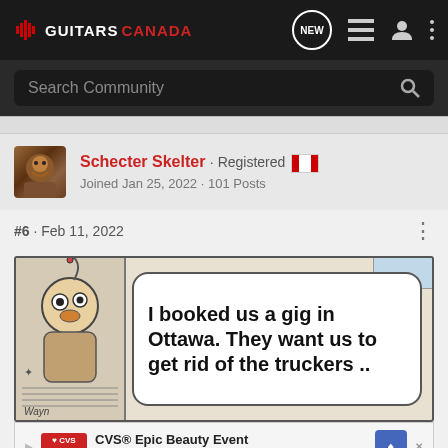GUITARS CANADA — navigation bar with logo, NEW bubble, list icon, user icon, menu icon
Search Community
Schecter Skelter · Registered 🍁
Joined Jan 25, 2022 · 101 Posts
#6 · Feb 11, 2022
[Figure (illustration): Comic strip panel showing a cartoon character on the left with a speech bubble reading: 'I booked us a gig in Ottawa. They want us to get rid of the truckers ..' Text 'Wayn' visible at bottom left. Small blue panel in top right corner.]
CVS® Epic Beauty Event
CVS